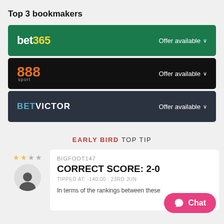Top 3 bookmakers
[Figure (infographic): bet365 bookmaker banner – green background, white 'bet' + yellow '365' logo on left, 'Offer available ∨' on right]
[Figure (infographic): 888sport bookmaker banner – black background, orange '888' + grey 'sport' logo on left, 'Offer available ∨' on right]
[Figure (infographic): BetVictor bookmaker banner – dark navy background, 'BET' in teal + 'VICTOR' in white on left, 'Offer available ∨' on right]
EARLY BIRD TOP TIP
[Figure (infographic): User avatar with 2 gold and 2 grey stars above, silhouette icon in circle]
BIGFOOT147
CORRECT SCORE: 2-0
TIPPED AT: -140.00 - 23RD JUN
In terms of the rankings between these
[Figure (infographic): Pink chat button with speech bubble icon and 'Chat' label]